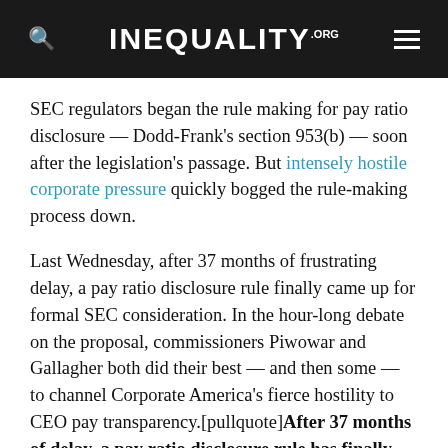INEQUALITY.ORG
SEC regulators began the rule making for pay ratio disclosure — Dodd-Frank's section 953(b) — soon after the legislation's passage. But intensely hostile corporate pressure quickly bogged the rule-making process down.
Last Wednesday, after 37 months of frustrating delay, a pay ratio disclosure rule finally came up for formal SEC consideration. In the hour-long debate on the proposal, commissioners Piwowar and Gallagher both did their best — and then some — to channel Corporate America's fierce hostility to CEO pay transparency.[pullquote]After 37 months of delay, a pay ratio disclosure rule has finally come up for formal SEC consideration.[/pullquote]
Gallagher labeled Dodd-Frank's 953(b) a "rotten